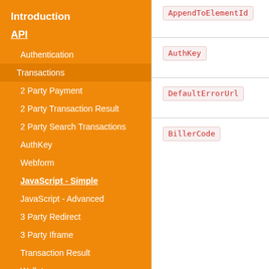Introduction
API
Authentication
Transactions
2 Party Payment
2 Party Transaction Result
2 Party Search Transactions
AuthKey
Webform
JavaScript - Simple
JavaScript - Advanced
3 Party Redirect
3 Party Iframe
Transaction Result
Wallets
AppendToElementId
AuthKey
DefaultErrorUrl
BillerCode